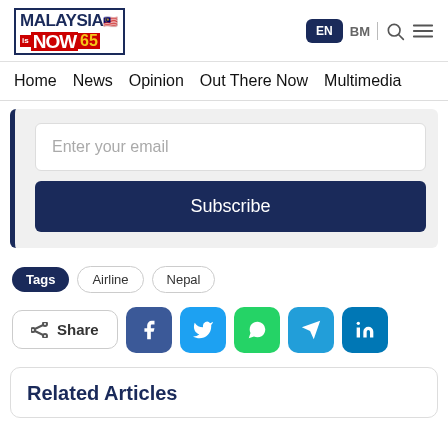[Figure (logo): MalaysiaNow logo with flag emoji, red NOW bar, and '65' in yellow]
EN  BM  [search] [menu]
Home  News  Opinion  Out There Now  Multimedia
Enter your email
Subscribe
Tags  Airline  Nepal
Share
Related Articles